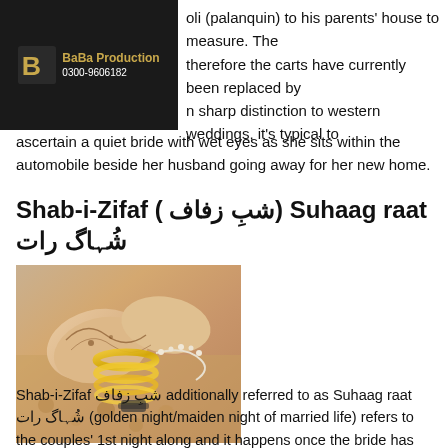[Figure (logo): BaBa Production logo on dark background, showing stylized B letter and company name with phone number 0300-9606182]
oli (palanquin) to his parents' house to measure. The therefore the carts have currently been replaced by n sharp distinction to western weddings, it's typical to ascertain a quiet bride with wet eyes as she sits within the automobile beside her husband going away for her new home.
Shab-i-Zifaf ( شبِ زفاف) Suhaag raat شُ‍ہاگ رات
[Figure (photo): Close-up photo of bride's hands adorned with mehndi (henna) and gold bangles/bracelets, wearing traditional South Asian bridal jewelry]
Shab-i-Zifaf ( شبِ زفاف)
Suhaag raat شُ‍ہاگ رات
Shab-i-Zifaf شبِ زفاف additionally referred to as Suhaag raat شُ‍ہاگ رات (golden night/maiden night of married life) refers to the couples' 1st night along and it happens once the bride has